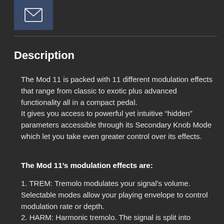[Figure (other): Email/envelope icon in a dark blue square box]
Description
The Mod 11 is packed with 11 different modulation effects that range from classic to exotic plus advanced functionality all in a compact pedal. It gives you access to powerful yet intuitive “hidden” parameters accessible through its Secondary Knob Mode which let you take even greater control over its effects.
The Mod 11’s modulation effects are:
1. TREM: Tremolo modulates your signal’s volume. Selectable modes allow your playing envelope to control modulation rate or depth.
2. HARM: Harmonic tremolo. The signal is split into